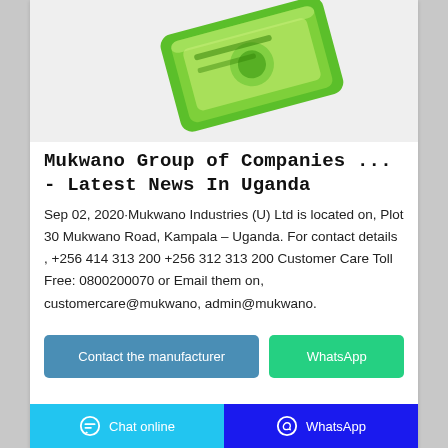[Figure (photo): Product photo of a green packaged soap or detergent bar from Mukwano Industries]
Mukwano Group of Companies ... - Latest News In Uganda
Sep 02, 2020·Mukwano Industries (U) Ltd is located on, Plot 30 Mukwano Road, Kampala – Uganda. For contact details , +256 414 313 200 +256 312 313 200 Customer Care Toll Free: 0800200070 or Email them on, customercare@mukwano, admin@mukwano.
Contact the manufacturer
WhatsApp
Chat online   WhatsApp